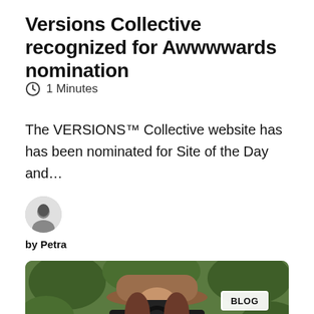Versions Collective recognized for Awwwwards nomination
1 Minutes
The VERSIONS™ Collective website has has been nominated for Site of the Day and...
[Figure (photo): Round avatar of author Petra, a person with dark hair]
by Petra
[Figure (photo): Person wearing an orange/brown hat holding a DSLR camera up to their face, green foliage in background, with a BLOG badge overlay and accessibility and scroll-to-top buttons]